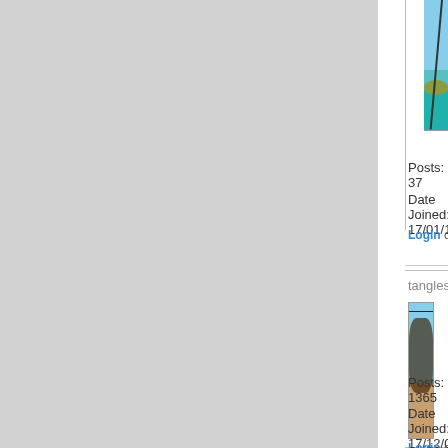[Figure (photo): Fishing scene with water, hills, and a fishing rod visible]
Posts: 37
Date Joined: 17/01/10
Login or register to post comments
tangles
[Figure (photo): Large lobster/crayfish on a boat with blue sky]
stretch ya
Thu, 2010-03-25 22:14
they give ya arms a goo
Posts: 1365
Date Joined: 17/12/06
Login or register to post comments
Stevef
Posts: 478
Date Joined: 27/02/08
Do you blokes eat th
Fri, 2010-03-26 12:07
Do you blokes eat the Sh